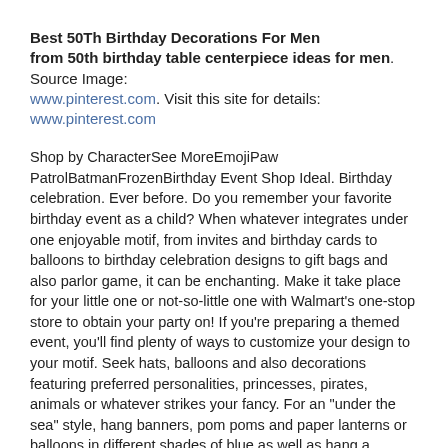Best 50Th Birthday Decorations For Men
from 50th birthday table centerpiece ideas for men. Source Image: www.pinterest.com. Visit this site for details: www.pinterest.com
Shop by CharacterSee MoreEmojiPaw PatrolBatmanFrozenBirthday Event Shop Ideal. Birthday celebration. Ever before. Do you remember your favorite birthday event as a child? When whatever integrates under one enjoyable motif, from invites and birthday cards to balloons to birthday celebration designs to gift bags and also parlor game, it can be enchanting. Make it take place for your little one or not-so-little one with Walmart's one-stop store to obtain your party on! If you're preparing a themed event, you'll find plenty of ways to customize your design to your motif. Seek hats, balloons and also decorations featuring preferred personalities, princesses, pirates, animals or whatever strikes your fancy. For an "under the sea" style, hang banners, pom poms and paper lanterns or balloons in different shades of blue as well as hang a mermaid pinata filled with gummy fish as well as sea life-themed trinkets. For a luau, hang Hawaiian-themed paper lights, give the guests bouquets, as well as laid out a fruit platter with exotic toothpicks. For a child's birthday celebration, try to find reward bags including your kid's favorite film or animation character, and also load it with enjoyable